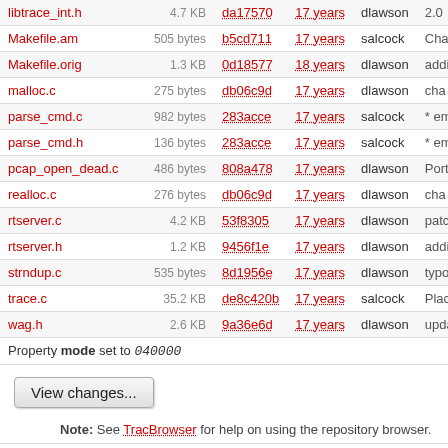| Name | Size | Rev | Age | Author | Last Change |
| --- | --- | --- | --- | --- | --- |
| libtrace_int.h | 4.7 KB | da17570 | 17 years | dlawson | 2.0... |
| Makefile.am | 505 bytes | b5cd711 | 17 years | salcock | Cha... |
| Makefile.orig | 1.3 KB | 0d18577 | 18 years | dlawson | addi... |
| malloc.c | 275 bytes | db06c9d | 17 years | dlawson | cha... |
| parse_cmd.c | 982 bytes | 283acce | 17 years | salcock | * em... |
| parse_cmd.h | 136 bytes | 283acce | 17 years | salcock | * em... |
| pcap_open_dead.c | 486 bytes | 808a478 | 17 years | dlawson | Port... |
| realloc.c | 276 bytes | db06c9d | 17 years | dlawson | cha... |
| rtserver.c | 4.2 KB | 53f8305 | 17 years | dlawson | patc... |
| rtserver.h | 1.2 KB | 9456f1e | 17 years | dlawson | addi... |
| strndup.c | 535 bytes | 8d1956e | 17 years | dlawson | typo... |
| trace.c | 35.2 KB | de8c420b | 17 years | salcock | Plac... |
| wag.h | 2.6 KB | 9a36e6d | 17 years | dlawson | upda... |
| Property mode set to 040000 |  |  |  |  |  |
Note: See TracBrowser for help on using the repository browser.
Powered by Trac 1.0.10 By Edgewall Software. Visit the Trac open source project at http://trac.edgewall.com/